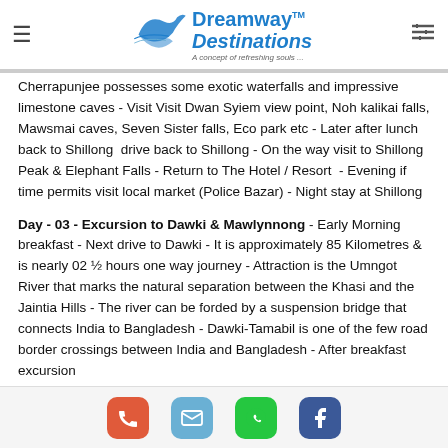Dreamway™ Destinations — A concept of refreshing souls...
Cherrapunjee possesses some exotic waterfalls and impressive limestone caves - Visit Visit Dwan Syiem view point, Noh kalikai falls, Mawsmai caves, Seven Sister falls, Eco park etc - Later after lunch back to Shillong  drive back to Shillong - On the way visit to Shillong Peak & Elephant Falls - Return to The Hotel / Resort  - Evening if time permits visit local market (Police Bazar) - Night stay at Shillong
Day - 03 - Excursion to Dawki & Mawlynnong - Early Morning breakfast - Next drive to Dawki - It is approximately 85 Kilometres & is nearly 02 ½ hours one way journey - Attraction is the Umngot River that marks the natural separation between the Khasi and the Jaintia Hills - The river can be forded by a suspension bridge that connects India to Bangladesh - Dawki-Tamabil is one of the few road border crossings between India and Bangladesh - After breakfast excursion
Phone | Email | WhatsApp | Facebook